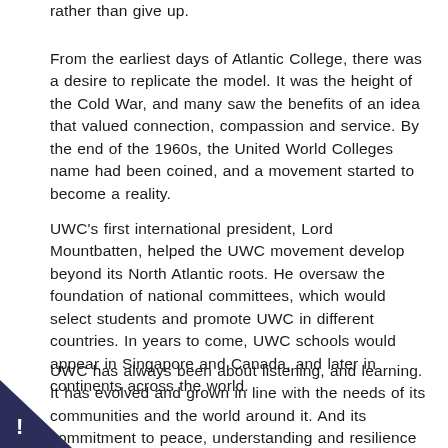rather than give up.
From the earliest days of Atlantic College, there was a desire to replicate the model. It was the height of the Cold War, and many saw the benefits of an idea that valued connection, compassion and service. By the end of the 1960s, the United World Colleges name had been coined, and a movement started to become a reality.
UWC's first international president, Lord Mountbatten, helped the UWC movement develop beyond its North Atlantic roots. He oversaw the foundation of national committees, which would select students and promote UWC in different countries. In years to come, UWC schools would appear in Singapore and Canada, and later in continents across the world.
UWC has always been about listening, and learning. It has evolved and grown in line with the needs of its communities and the world around it. And its commitment to peace, understanding and resilience remains as strong as ever.